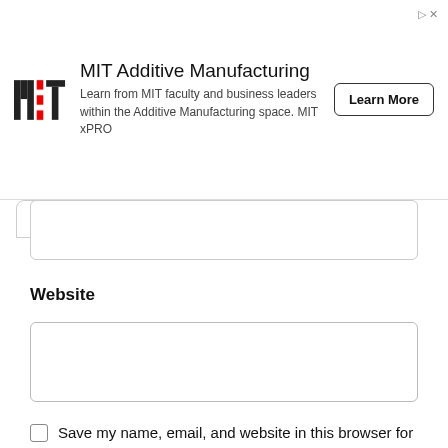[Figure (screenshot): MIT Additive Manufacturing advertisement banner with MIT logo, description text, and Learn More button]
Website
Save my name, email, and website in this browser for the next time I comment.
Post Comment